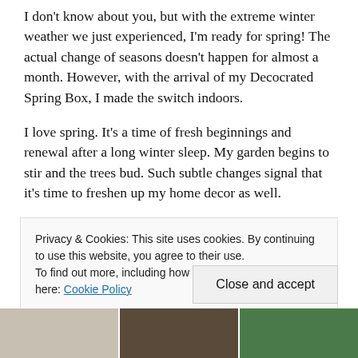I don't know about you, but with the extreme winter weather we just experienced, I'm ready for spring! The actual change of seasons doesn't happen for almost a month. However, with the arrival of my Decocrated Spring Box, I made the switch indoors.
I love spring. It's a time of fresh beginnings and renewal after a long winter sleep. My garden begins to stir and the trees bud. Such subtle changes signal that it's time to freshen up my home decor as well.
I'm happy to spring into renewal with Decocrated and
Privacy & Cookies: This site uses cookies. By continuing to use this website, you agree to their use.
To find out more, including how to control cookies, see here: Cookie Policy
Close and accept
[Figure (photo): Bottom strip showing partial images of decorative items and plants]